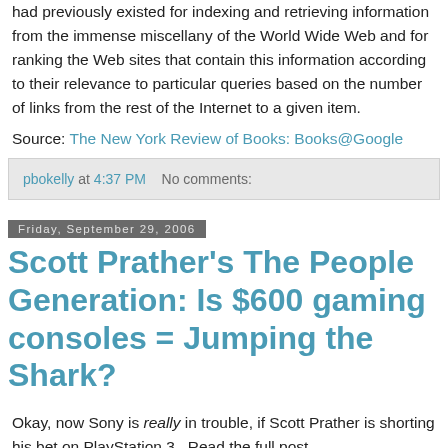had previously existed for indexing and retrieving information from the immense miscellany of the World Wide Web and for ranking the Web sites that contain this information according to their relevance to particular queries based on the number of links from the rest of the Internet to a given item.
Source: The New York Review of Books: Books@Google
pbokelly at 4:37 PM    No comments:
Friday, September 29, 2006
Scott Prather's The People Generation: Is $600 gaming consoles = Jumping the Shark?
Okay, now Sony is really in trouble, if Scott Prather is shorting his bet on PlayStation 3.  Read the full post...
I comment on this post at 3:37 bottom this